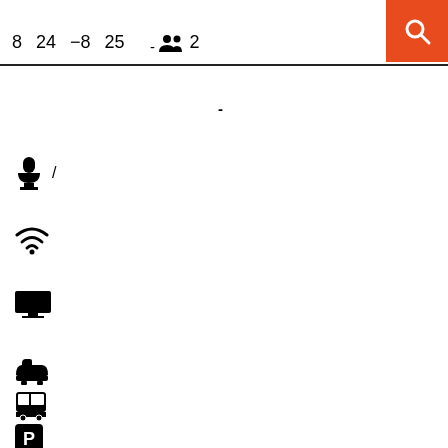8  24  -8  25  👥 2
-
/
[Figure (infographic): Wine glass icon]
[Figure (infographic): WiFi icon]
[Figure (infographic): TV/monitor icon]
[Figure (infographic): Bathtub icon]
[Figure (infographic): Bus/shuttle icon]
[Figure (infographic): Parking P icon]
[Figure (infographic): Pets/paw icon]